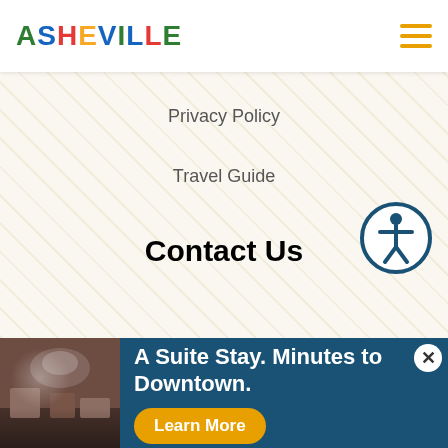ASHEVILLE
Privacy Policy
Travel Guide
Contact Us
[Figure (illustration): Accessibility icon: person with outstretched arms inside a circle with dark blue border]
For Media
Press Room
For Planners
[Figure (infographic): Advertisement banner: hotel lobby photo on left; dark blue background with text 'A Suite Stay. Minutes to Downtown.' and yellow 'Learn More' button; white close X button in top right corner]